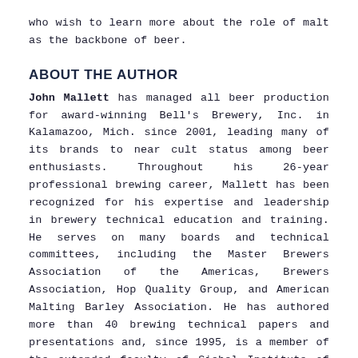who wish to learn more about the role of malt as the backbone of beer.
ABOUT THE AUTHOR
John Mallett has managed all beer production for award-winning Bell's Brewery, Inc. in Kalamazoo, Mich. since 2001, leading many of its brands to near cult status among beer enthusiasts. Throughout his 26-year professional brewing career, Mallett has been recognized for his expertise and leadership in brewery technical education and training. He serves on many boards and technical committees, including the Master Brewers Association of the Americas, Brewers Association, Hop Quality Group, and American Malting Barley Association. He has authored more than 40 brewing technical papers and presentations and, since 1995, is a member of the extended faculty of Siebel Institute of Technology. In 2002, Mallett received the Russell Schehrer Award for Innovation in Craft Brewing,